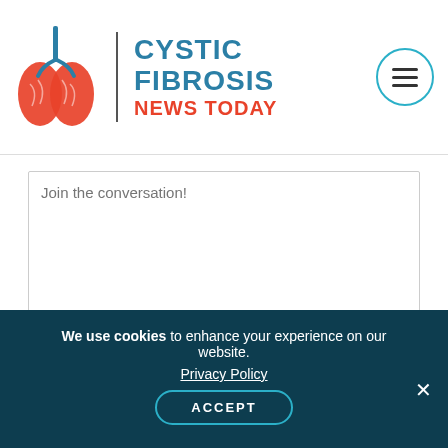[Figure (logo): Cystic Fibrosis News Today logo with red lungs illustration and blue/red text]
Join the conversation!
POST COMMENT
We use cookies to enhance your experience on our website.
Privacy Policy
ACCEPT